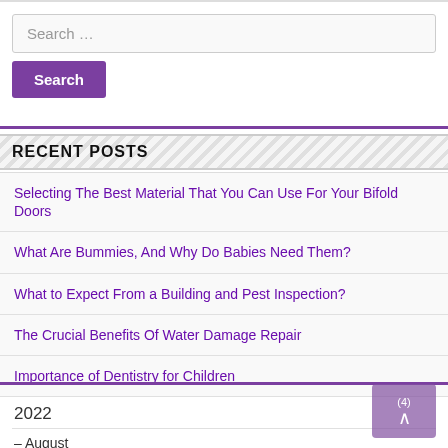Search …
Search
RECENT POSTS
Selecting The Best Material That You Can Use For Your Bifold Doors
What Are Bummies, And Why Do Babies Need Them?
What to Expect From a Building and Pest Inspection?
The Crucial Benefits Of Water Damage Repair
Importance of Dentistry for Children
2022
– August
Selecting The Best Material That You Can Use For Your Bifold Doors
What Are Bummies, And Why Do Babies Need Them?
What to Expect From a Building and Pest Inspection?